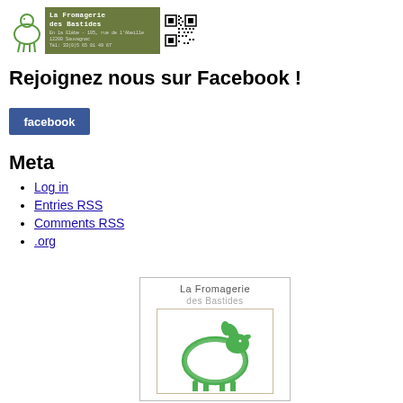[Figure (logo): La Fromagerie des Bastides header banner with sheep logo, green text block with address/phone, and QR code]
Rejoignez nous sur Facebook !
[Figure (logo): Facebook button in blue with white 'facebook' text]
Meta
Log in
Entries RSS
Comments RSS
.org
[Figure (logo): La Fromagerie des Bastides logo: green sheep illustration inside a tan-bordered frame, with the text 'La Fromagerie des Bastides' above]